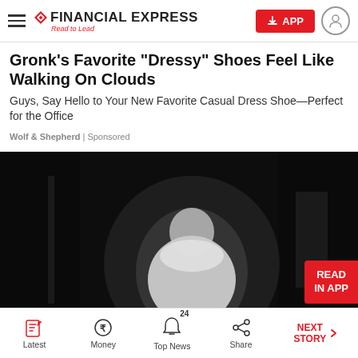FINANCIAL EXPRESS — Read to Lead
Gronk's Favorite "Dressy" Shoes Feel Like Walking On Clouds
Guys, Say Hello to Your New Favorite Casual Dress Shoe—Perfect for the Office
Wolf & Shepherd | Sponsored
[Figure (photo): Dark video thumbnail showing a blurred figure of a person wearing a white shirt against a dark background, with a red 'READ IN APP' badge in the bottom right corner]
Latest | Money | Top News 24 | Share | NEXT STORY